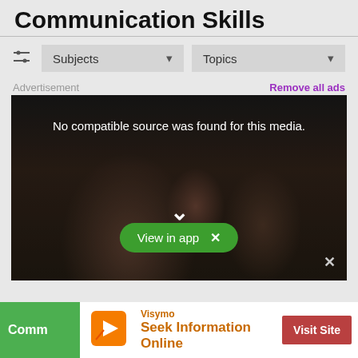Communication Skills
Subjects ▼   Topics ▼
Advertisement   Remove all ads
[Figure (screenshot): Video player showing dark background with audience silhouette, text 'No compatible source was found for this media.' with a 'View in app X' green button overlay and a close X button at bottom right.]
[Figure (screenshot): Advertisement banner at the bottom: green tab with 'Comm', Visymo logo with orange icon, text 'Seek Information Online', and red 'Visit Site' button.]